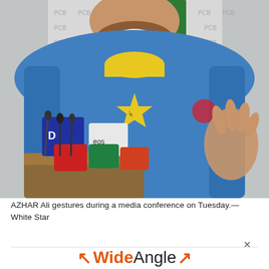[Figure (photo): Azhar Ali in blue Pakistan cricket jersey with yellow star and collar, gesturing with right hand at a media conference, with multiple microphones clustered in front including Pepsi-branded mics, against a PCB (Pakistan Cricket Board) backdrop.]
AZHAR Ali gestures during a media conference on Tuesday.— White Star
[Figure (logo): WideAngle logo with orange arrows and mixed orange/dark text]